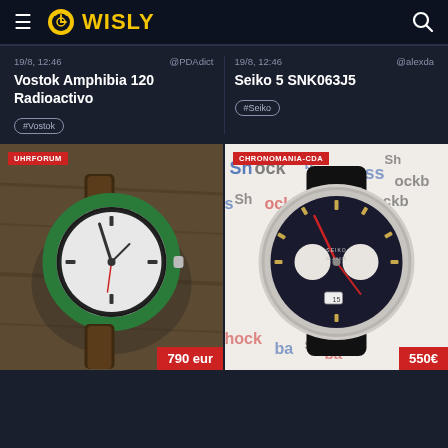WISLY
19/8, 12:46  @PDAdict
Vostok Amphibia 120 Radioactivo
#Vostok
19/8, 12:46  @alexda
Seiko 5 SNK063J5
#Seiko
[Figure (photo): Watch photo — Vostok Amphibia 120 Radioactivo with green bezel and brown leather strap on wooden surface. Badge: UHRFORUM. Price: 790 eur]
[Figure (photo): Watch photo — Seiko 5 SNK063J5 vintage chronograph with dark dial, sub-dials, red hands, on Shockblast branded background. Badge: CHRONOMANIA-CDA. Price: 550€]